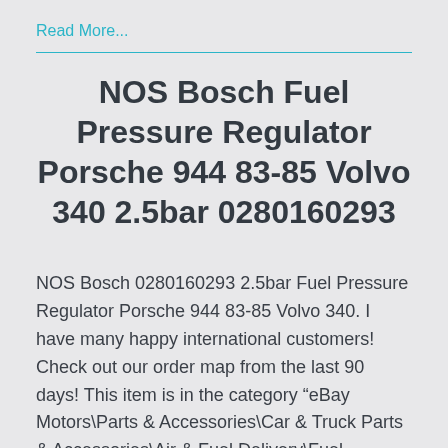Read More...
NOS Bosch Fuel Pressure Regulator Porsche 944 83-85 Volvo 340 2.5bar 0280160293
NOS Bosch 0280160293 2.5bar Fuel Pressure Regulator Porsche 944 83-85 Volvo 340. I have many happy international customers! Check out our order map from the last 90 days! This item is in the category “eBay Motors\Parts & Accessories\Car & Truck Parts & Accessories\Air & Fuel Delivery\Fuel Injection Parts\Additional Fuel Injection Parts”. The seller is “partrat” [...]